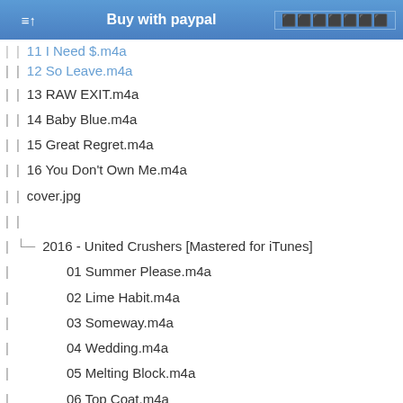Buy with paypal
11 I Need $.m4a
12 So Leave.m4a
13 RAW EXIT.m4a
14 Baby Blue.m4a
15 Great Regret.m4a
16 You Don't Own Me.m4a
cover.jpg
└─2016 - United Crushers [Mastered for iTunes]
01 Summer Please.m4a
02 Lime Habit.m4a
03 Someway.m4a
04 Wedding.m4a
05 Melting Block.m4a
06 Top Coat.m4a
07 Lately.m4a
08 Fish.m4a
09 Berlin.m4a
10 Baby Sucks.m4a
11 Kind.m4a
12 Lose You.m4a
cover.jpg